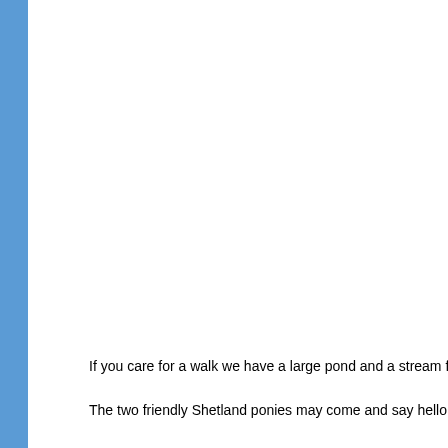miles from ... peace and ... traffic as ou... mile down a...
We like to p... breakfasts w... free range f...
If you visit u... able to sam...
The bacon ...
Although w... there is a e... the road tha... for all tastes...
If you care for a walk we have a large pond and a stream for your enjo...
The two friendly Shetland ponies may come and say hello.
If fishing is your thing there are two very good trout fisheries close by.
There are also several golf courses and riding centres in the locality.
Cyclists will find cycle tracks about half a mile away.
If you visit us during the winter months you will be sure of a warm welc...